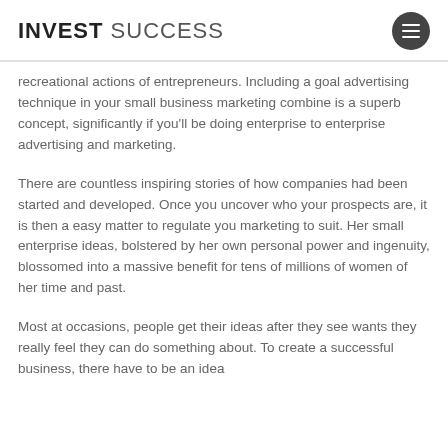INVEST SUCCESS
recreational actions of entrepreneurs. Including a goal advertising technique in your small business marketing combine is a superb concept, significantly if you'll be doing enterprise to enterprise advertising and marketing.
There are countless inspiring stories of how companies had been started and developed. Once you uncover who your prospects are, it is then a easy matter to regulate you marketing to suit. Her small enterprise ideas, bolstered by her own personal power and ingenuity, blossomed into a massive benefit for tens of millions of women of her time and past.
Most at occasions, people get their ideas after they see wants they really feel they can do something about. To create a successful business, there have to be an idea